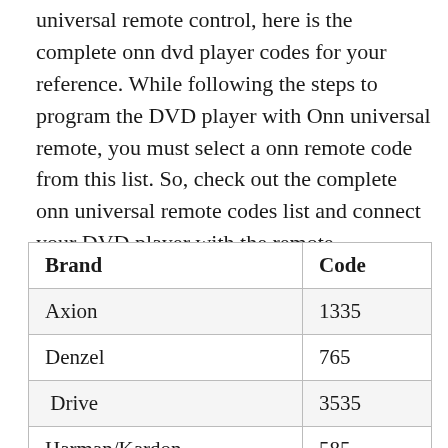universal remote control, here is the complete onn dvd player codes for your reference. While following the steps to program the DVD player with Onn universal remote, you must select a onn remote code from this list. So, check out the complete onn universal remote codes list and connect your DVD player with the remote.
| Brand | Code |
| --- | --- |
| Axion | 1335 |
| Denzel | 765 |
| Drive | 3535 |
| Harman/Kardon | 585 |